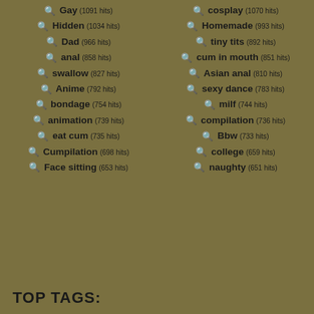Gay (1091 hits)
cosplay (1070 hits)
Hidden (1034 hits)
Homemade (993 hits)
Dad (966 hits)
tiny tits (892 hits)
anal (858 hits)
cum in mouth (851 hits)
swallow (827 hits)
Asian anal (810 hits)
Anime (792 hits)
sexy dance (783 hits)
bondage (754 hits)
milf (744 hits)
animation (739 hits)
compilation (736 hits)
eat cum (735 hits)
Bbw (733 hits)
Cumpilation (698 hits)
college (659 hits)
Face sitting (653 hits)
naughty (651 hits)
TOP TAGS: